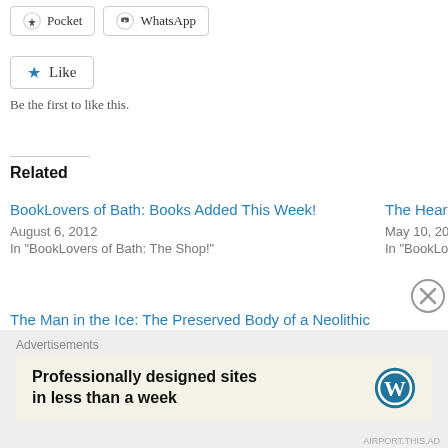[Figure (screenshot): Pocket and WhatsApp share buttons at top]
[Figure (screenshot): Like button with star icon]
Be the first to like this.
Related
BookLovers of Bath: Books Added This Week!
August 6, 2012
In "BookLovers of Bath: The Shop!"
The Heart Of T
May 10, 2012
In "BookLovers
The Man in the Ice: The Preserved Body of a Neolithic Man Reveals the Secrets of the Stone Age by Konrad Spindler
May 15, 2012
In "BookLovers of Bath: The Shop!"
Advertisements
Professionally designed sites in less than a week